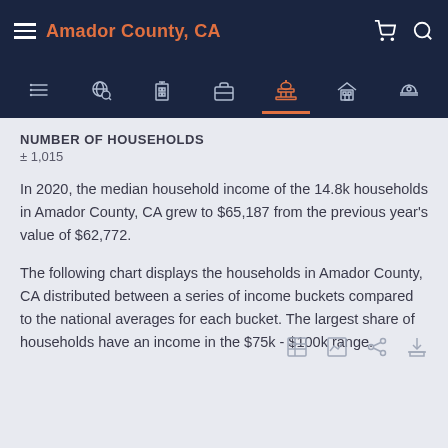Amador County, CA
NUMBER OF HOUSEHOLDS
± 1,015
In 2020, the median household income of the 14.8k households in Amador County, CA grew to $65,187 from the previous year's value of $62,772.
The following chart displays the households in Amador County, CA distributed between a series of income buckets compared to the national averages for each bucket. The largest share of households have an income in the $75k - $100k range.